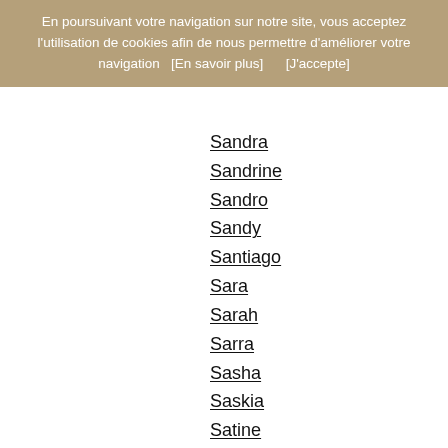En poursuivant votre navigation sur notre site, vous acceptez l'utilisation de cookies afin de nous permettre d'améliorer votre navigation   [En savoir plus]      [J'accepte]
Sandra
Sandrine
Sandro
Sandy
Santiago
Sara
Sarah
Sarra
Sasha
Saskia
Satine
Saul
Savannah
Scarlett
Scott
Sean
Sebastian
Sébastien
Sekou
Selena
Selène
Selin...